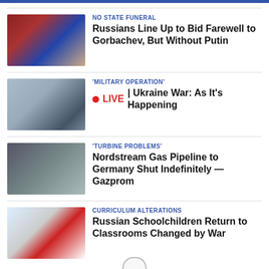NO STATE FUNERAL
Russians Line Up to Bid Farewell to Gorbachev, But Without Putin
'MILITARY OPERATION'
LIVE | Ukraine War: As It's Happening
'TURBINE PROBLEMS'
Nordstream Gas Pipeline to Germany Shut Indefinitely — Gazprom
CURRICULUM ALTERATIONS
Russian Schoolchildren Return to Classrooms Changed by War